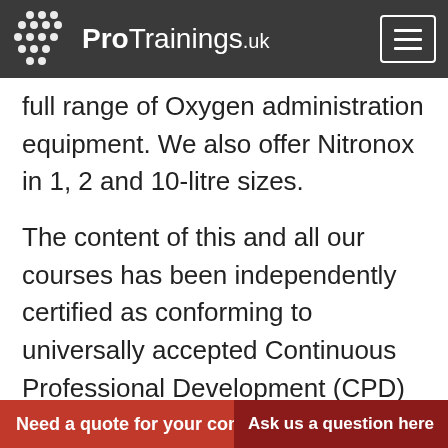ProTrainings.uk
full range of Oxygen administration equipment. We also offer Nitronox in 1, 2 and 10-litre sizes.
The content of this and all our courses has been independently certified as conforming to universally accepted Continuous Professional Development (CPD) guidelines and come with a Certified CPD Statement as well as a ProTrainings Certificate and for online courses an Evidence-B...
Need a quote for your com
Ask us a question here